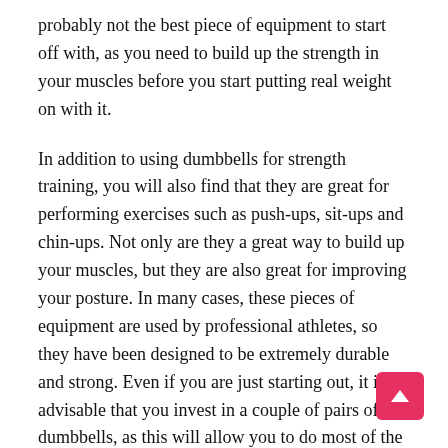probably not the best piece of equipment to start off with, as you need to build up the strength in your muscles before you start putting real weight on with it.
In addition to using dumbbells for strength training, you will also find that they are great for performing exercises such as push-ups, sit-ups and chin-ups. Not only are they a great way to build up your muscles, but they are also great for improving your posture. In many cases, these pieces of equipment are used by professional athletes, so they have been designed to be extremely durable and strong. Even if you are just starting out, it is advisable that you invest in a couple of pairs of dumbbells, as this will allow you to do most of the exercises that you want to do.
There is a huge amount of benefits when you use dumbbells for strength training equipment. Not only do they provide you with a good challenge, but they are a very useful piece of equipment for overall body conditioning. You will also find that they are great for targeting specific parts of your body, which will improve your ability to do other exerci… For beginners, it is advisable that you purchase a couple of dumbb… that you will be able to do most of the exercises that you want to. As your